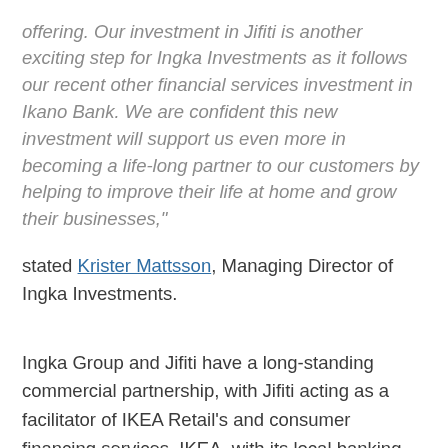offering. Our investment in Jifiti is another exciting step for Ingka Investments as it follows our recent other financial services investment in Ikano Bank. We are confident this new investment will support us even more in becoming a life-long partner to our customers by helping to improve their life at home and grow their businesses," stated Krister Mattsson, Managing Director of Ingka Investments.
Ingka Group and Jifiti have a long-standing commercial partnership, with Jifiti acting as a facilitator of IKEA Retail's and consumer financing services. IKEA, with its local banking partners in Spain, France, Portugal and Belgium, have already